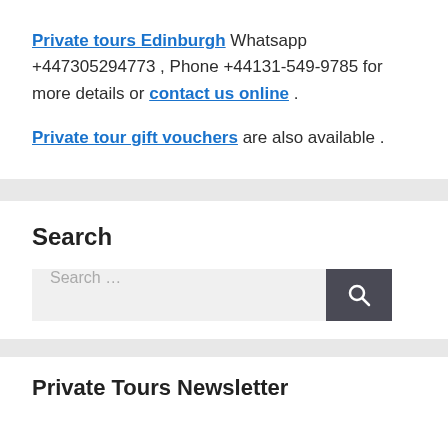Private tours Edinburgh Whatsapp +447305294773 , Phone +44131-549-9785 for more details or contact us online .
Private tour gift vouchers are also available .
Search
[Figure (other): Search input box with placeholder text 'Search ...' and a dark search button with magnifying glass icon]
Private Tours Newsletter